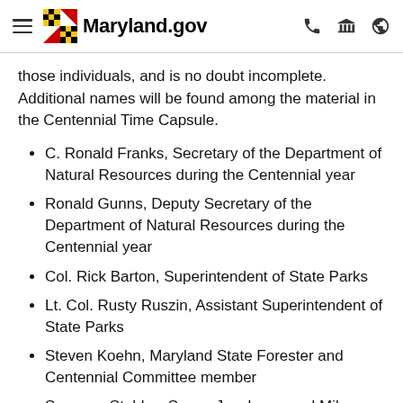Maryland.gov
those individuals, and is no doubt incomplete. Additional names will be found among the material in the Centennial Time Capsule.
C. Ronald Franks, Secretary of the Department of Natural Resources during the Centennial year
Ronald Gunns, Deputy Secretary of the Department of Natural Resources during the Centennial year
Col. Rick Barton, Superintendent of State Parks
Lt. Col. Rusty Ruszin, Assistant Superintendent of State Parks
Steven Koehn, Maryland State Forester and Centennial Committee member
Susanne Stahley, Susan Jacobson, and Mike